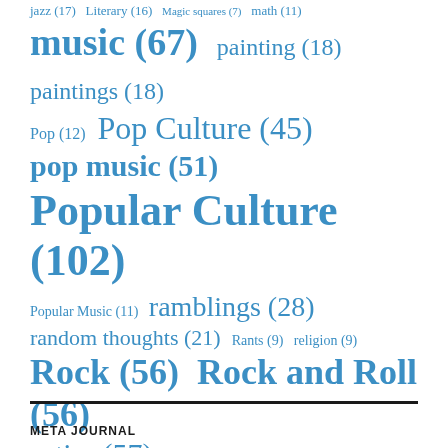jazz (17)  Literary (16)  Magic squares (7)  math (11)
music (67)  painting (18)  paintings (18)
Pop (12)  Pop Culture (45)
pop music (51)
Popular Culture (102)
Popular Music (11)  ramblings (28)
random thoughts (21)  Rants (9)  religion (9)
Rock (56)  Rock and Roll (56)
satire (57)  sex (12)  Square Matrix (7)  tasteless (12)
trippy-pics (100)